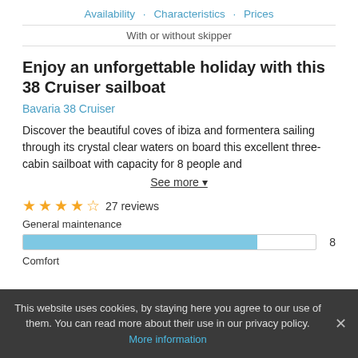Availability · Characteristics · Prices
With or without skipper
Enjoy an unforgettable holiday with this 38 Cruiser sailboat
Bavaria 38 Cruiser
Discover the beautiful coves of ibiza and formentera sailing through its crystal clear waters on board this excellent three-cabin sailboat with capacity for 8 people and
See more ▾
★★★★☆ 27 reviews
General maintenance
8
Comfort
This website uses cookies, by staying here you agree to our use of them. You can read more about their use in our privacy policy. More information